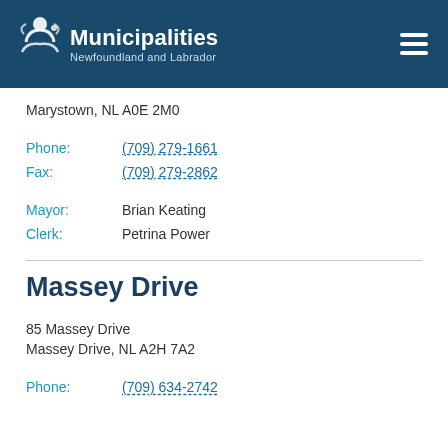Municipalities Newfoundland and Labrador
Marystown, NL A0E 2M0
Phone: (709) 279-1661
Fax: (709) 279-2862
Mayor: Brian Keating
Clerk: Petrina Power
Massey Drive
85 Massey Drive
Massey Drive, NL A2H 7A2
Phone: (709) 634-2742